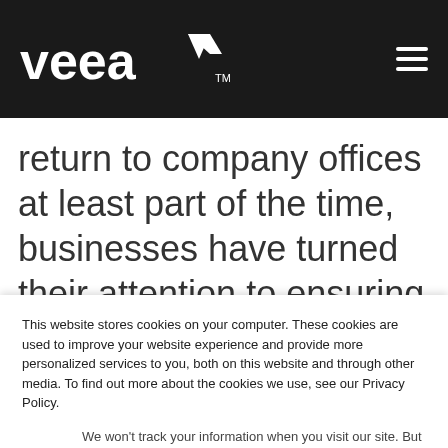veea™ [navigation header with hamburger menu]
return to company offices at least part of the time, businesses have turned their attention to ensuring the safety of workers—given the
This website stores cookies on your computer. These cookies are used to improve your website experience and provide more personalized services to you, both on this website and through other media. To find out more about the cookies we use, see our Privacy Policy.
We won't track your information when you visit our site. But in order to comply with your preferences, we'll have to use just one tiny cookie so that you're not asked to make this choice again.
Accept | Decline